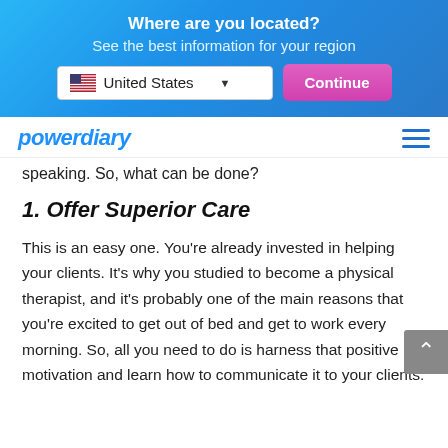Where are you located?
See the best information for your region
[Figure (screenshot): Location selector with United States dropdown and Continue button]
[Figure (logo): Power Diary logo with hamburger menu]
speaking. So, what can be done?
1. Offer Superior Care
This is an easy one. You’re already invested in helping your clients. It’s why you studied to become a physical therapist, and it’s probably one of the main reasons that you’re excited to get out of bed and get to work every morning. So, all you need to do is harness that positive motivation and learn how to communicate it to your clients.